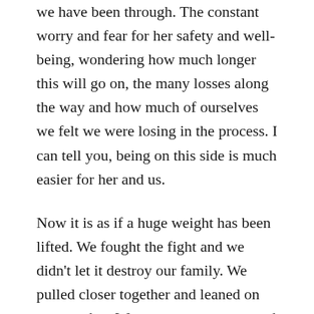we have been through. The constant worry and fear for her safety and well-being, wondering how much longer this will go on, the many losses along the way and how much of ourselves we felt we were losing in the process. I can tell you, being on this side is much easier for her and us.
Now it is as if a huge weight has been lifted. We fought the fight and we didn’t let it destroy our family. We pulled closer together and leaned on one another. We came out stronger and we have no regrets.
I share this because what you are going through, caring for or watching a loved one battle this horrendous disease, is admirable. Not many can stand up and do this. The pain that is around you is temporary. This is a